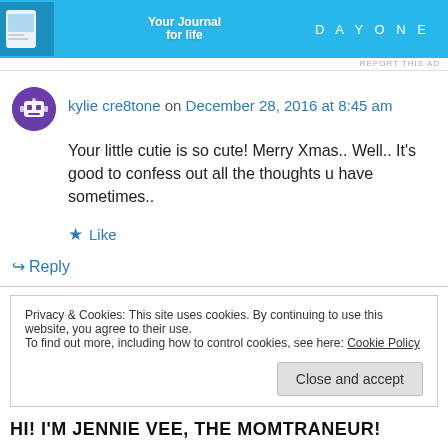[Figure (screenshot): Advertisement banner for Day One journal app with blue background, app screenshot thumbnail, text 'Your Journal for life' and DAYONE branding]
REPORT THIS AD
kylie cre8tone on December 28, 2016 at 8:45 am
Your little cutie is so cute! Merry Xmas.. Well.. It's good to confess out all the thoughts u have sometimes..
★ Like
↪ Reply
Privacy & Cookies: This site uses cookies. By continuing to use this website, you agree to their use.
To find out more, including how to control cookies, see here: Cookie Policy
Close and accept
HI! I'M JENNIE VEE, THE MOMTRANEUR!